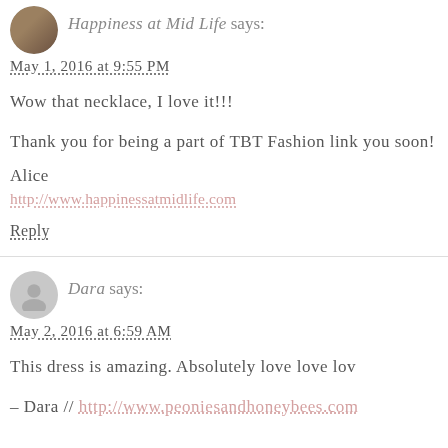Happiness at Mid Life says:
May 1, 2016 at 9:55 PM
Wow that necklace, I love it!!!
Thank you for being a part of TBT Fashion link you soon!
Alice
http://www.happinessatmidlife.com
Reply
Dara says:
May 2, 2016 at 6:59 AM
This dress is amazing. Absolutely love love lov
- Dara // http://www.peoniesandhoneybees.com